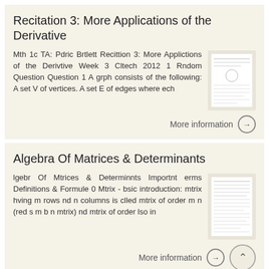Recitation 3: More Applications of the Derivative
Mth 1c TA: Pdric Brtlett Recittion 3: More Applictions of the Derivtive Week 3 Cltech 2012 1 Rndom Question Question 1 A grph consists of the following: A set V of vertices. A set E of edges where ech
[Figure (screenshot): Thumbnail of the document page for Recitation 3]
More information →
Algebra Of Matrices & Determinants
lgebr Of Mtrices & Determinnts Importnt erms Definitions & Formule 0 Mtrix - bsic introduction: mtrix hving m rows nd n columns is clled mtrix of order m n (red s m b n mtrix) nd mtrix of order lso in
[Figure (screenshot): Thumbnail of the document page for Algebra Of Matrices & Determinants]
More information →